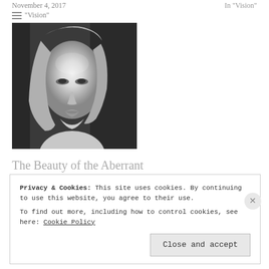November 4, 2017
In "Vision"
≡ "Vision"
[Figure (photo): Black and white portrait photo of a young blonde woman looking directly at the camera with a serious expression]
The Beauty of the Aberrant
June 11, 2020
In "Vision"
Privacy & Cookies: This site uses cookies. By continuing to use this website, you agree to their use.
To find out more, including how to control cookies, see here: Cookie Policy
Close and accept